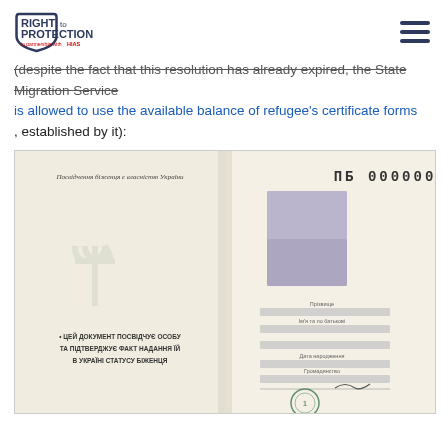Right to Protection — in partnership with HIAS
(despite the fact that this resolution has already expired, the State Migration Service is allowed to use the available balance of refugee's certificate forms, established by it):
[Figure (photo): Open Ukrainian refugee certificate booklet. Left page shows the national emblem (trident watermark) and text in Ukrainian: 'ЦЕЙ ДОКУМЕНТ ПОСВІДЧУЄ ОСОБУ ТА ПІДТВЕРДЖУЄ ФАКТ НАДАННЯ ЇЙ В УКРАЇНІ СТАТУСУ БІЖЕНЦЯ'. The header on left reads 'Посвідчення біженця є власністю України'. Right page has dotted serial number 'ПБ 000000' at top, a blurred/redacted photo, and several blurred personal data fields with a signature and stamp.]